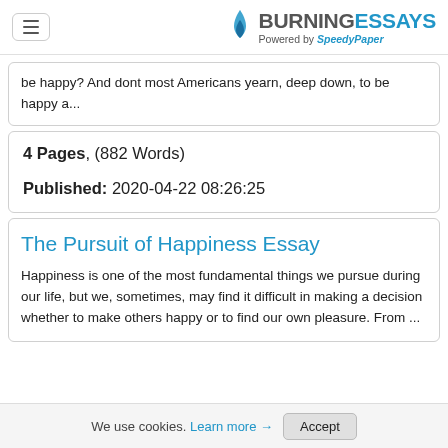BURNINGESSAYS Powered by SpeedyPaper
be happy? And dont most Americans yearn, deep down, to be happy a...
4 Pages, (882 Words)
Published: 2020-04-22 08:26:25
The Pursuit of Happiness Essay
Happiness is one of the most fundamental things we pursue during our life, but we, sometimes, may find it difficult in making a decision whether to make others happy or to find our own pleasure. From ...
We use cookies. Learn more → Accept